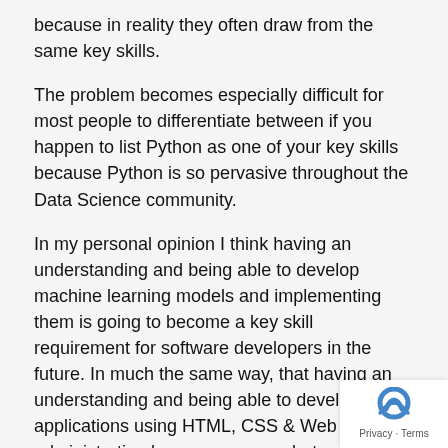because in reality they often draw from the same key skills.
The problem becomes especially difficult for most people to differentiate between if you happen to list Python as one of your key skills because Python is so pervasive throughout the Data Science community.
In my personal opinion I think having an understanding and being able to develop machine learning models and implementing them is going to become a key skill requirement for software developers in the future. In much the same way, that having an understanding and being able to develop applications using HTML, CSS & Web Server administration became a somewhat mandatory skills for developers, regardless of whether they were web developers or not because web development and the web became a primary deployment model for most applications.